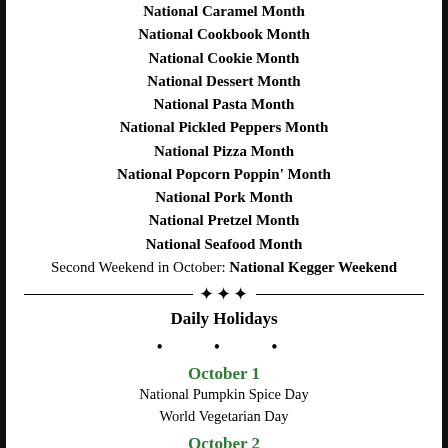National Caramel Month
National Cookbook Month
National Cookie Month
National Dessert Month
National Pasta Month
National Pickled Peppers Month
National Pizza Month
National Popcorn Poppin' Month
National Pork Month
National Pretzel Month
National Seafood Month
Second Weekend in October: National Kegger Weekend
Daily Holidays
• • •
October 1
National Pumpkin Spice Day
World Vegetarian Day
October 2